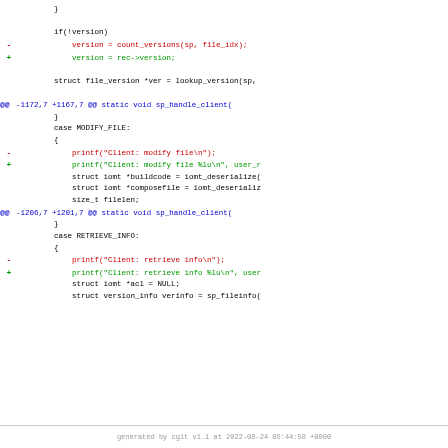[Figure (screenshot): A code diff view showing changes in C source code. Lines show removal of count_versions() call replaced with rec->version, and printf() calls updated to include user_r and user parameters.]
generated by cgit v1.1 at 2022-08-24 06:44:58 +0000